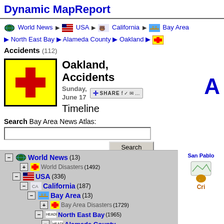Dynamic MapReport
World News > USA > California > Bay Area > North East Bay > Alameda County > Oakland > Accidents (112)
[Figure (screenshot): Oakland Accidents Timeline page with red cross icon on yellow background, title text, date Sunday June 17, share button, and navigation breadcrumb]
Search Bay Area News Atlas:
Tree navigation: World News (13), World Disasters (1492), USA (336), California (187), Bay Area (13), Bay Area Disasters (1729), North East Bay (1965), Alameda County
San Pablo | Cri...